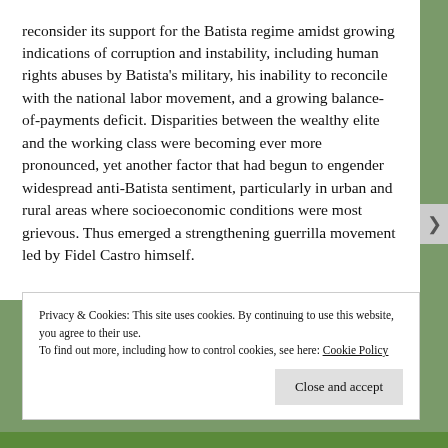reconsider its support for the Batista regime amidst growing indications of corruption and instability, including human rights abuses by Batista's military, his inability to reconcile with the national labor movement, and a growing balance-of-payments deficit. Disparities between the wealthy elite and the working class were becoming ever more pronounced, yet another factor that had begun to engender widespread anti-Batista sentiment, particularly in urban and rural areas where socioeconomic conditions were most grievous. Thus emerged a strengthening guerrilla movement led by Fidel Castro himself.
Privacy & Cookies: This site uses cookies. By continuing to use this website, you agree to their use. To find out more, including how to control cookies, see here: Cookie Policy
Close and accept